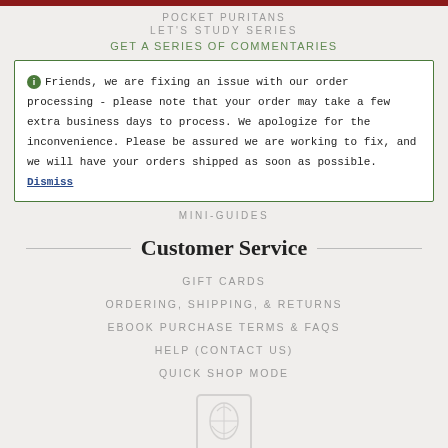POCKET PURITANS
LET'S STUDY SERIES
GET A SERIES OF COMMENTARIES
Friends, we are fixing an issue with our order processing - please note that your order may take a few extra business days to process. We apologize for the inconvenience. Please be assured we are working to fix, and we will have your orders shipped as soon as possible. Dismiss
MINI-GUIDES
Customer Service
GIFT CARDS
ORDERING, SHIPPING, & RETURNS
EBOOK PURCHASE TERMS & FAQS
HELP (CONTACT US)
QUICK SHOP MODE
[Figure (logo): Faded publisher logo at bottom center of page]